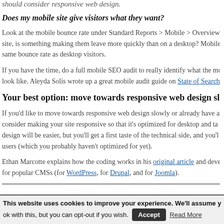should consider responsive web design.
Does my mobile site give visitors what they want?
Look at the mobile bounce rate under Standard Reports > Mobile > Overview site, is something making them leave more quickly than on a desktop? Mobile same bounce rate as desktop visitors.
If you have the time, do a full mobile SEO audit to really identify what the mob look like. Aleyda Solis wrote up a great mobile audit guide on State of Search
Your best option: move towards responsive web design slowly
If you'd like to move towards responsive web design slowly or already have a consider making your site responsive so that it's optimized for desktop and ta design will be easier, but you'll get a first taste of the technical side, and you'l users (which you probably haven't optimized for yet).
Ethan Marcotte explains how the coding works in his original article and deve for popular CMSs (for WordPress, for Drupal, and for Joomla).
This website uses cookies to improve your experience. We'll assume you're ok with this, but you can opt-out if you wish. Accept Read More